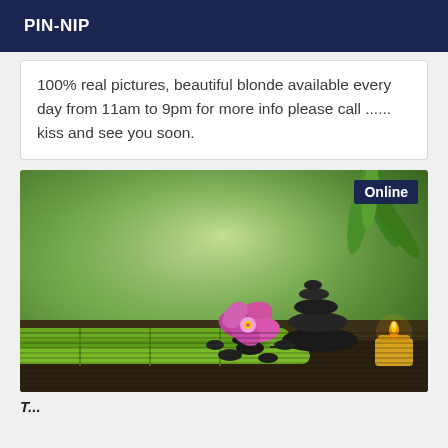PIN-NIP
100% real pictures, beautiful blonde available every day from 11am to 9pm for more info please call ...... kiss and see you soon.
[Figure (photo): Spa/wellness photo showing black zen stones stacked, a pink orchid flower, green bamboo shoots, and a lit yellow candle on a dark bamboo mat surface, with a blurred green nature background. An 'Online' badge appears in the top-right corner.]
T... (partially visible caption text at bottom)